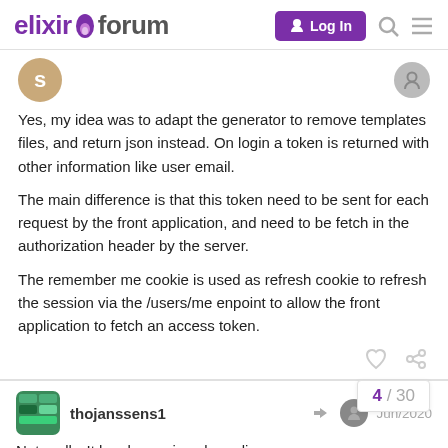elixir forum — Log In
[Figure (screenshot): Avatar circle with letter S, tan/brown color]
Yes, my idea was to adapt the generator to remove templates files, and return json instead. On login a token is returned with other information like user email.
The main difference is that this token need to be sent for each request by the front application, and need to be fetch in the authorization header by the server.
The remember me cookie is used as refresh cookie to refresh the session via the /users/me enpoint to allow the front application to fetch an access token.
thojanssens1
Jun/2020
Not really. It has been since long discourse...
4 / 30